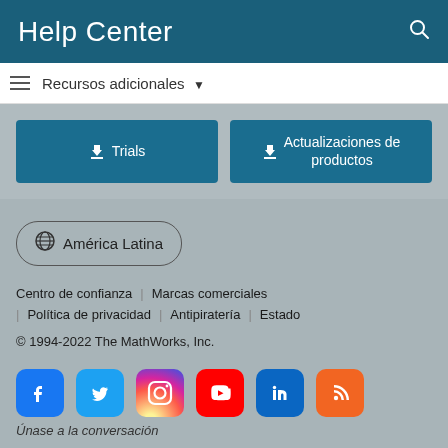Help Center
Recursos adicionales ▼
⬇ Trials
⬇ Actualizaciones de productos
🌐 América Latina
Centro de confianza | Marcas comerciales
| Política de privacidad | Antipiratería | Estado
© 1994-2022 The MathWorks, Inc.
[Figure (screenshot): Social media icons row: Facebook, Twitter, Instagram, YouTube, LinkedIn, RSS]
Únase a la conversación